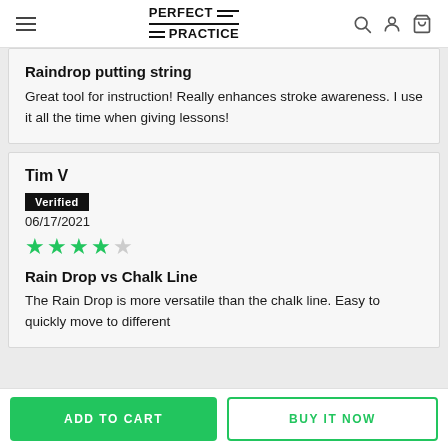PERFECT PRACTICE
Raindrop putting string
Great tool for instruction! Really enhances stroke awareness. I use it all the time when giving lessons!
Tim V
Verified
06/17/2021
★★★★☆
Rain Drop vs Chalk Line
The Rain Drop is more versatile than the chalk line. Easy to quickly move to different
ADD TO CART
BUY IT NOW